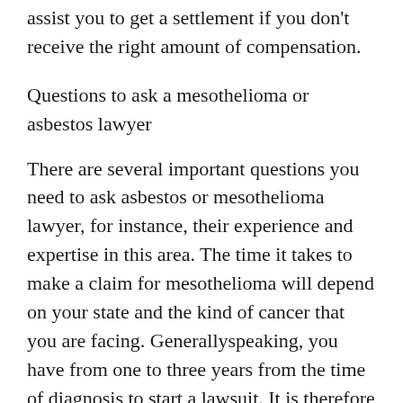Your lawyer should be able to defend your rights and assist you to get a settlement if you don't receive the right amount of compensation.
Questions to ask a mesothelioma or asbestos lawyer
There are several important questions you need to ask asbestos or mesothelioma lawyer, for instance, their experience and expertise in this area. The time it takes to make a claim for mesothelioma will depend on your state and the kind of cancer that you are facing. Generallyspeaking, you have from one to three years from the time of diagnosis to start a lawsuit. It is therefore crucial to begin the process as soon as you can.
Once you've narrowed your list of attorneys you're interested in, you can contact them to discuss your case. Ask around for information about the experience of other